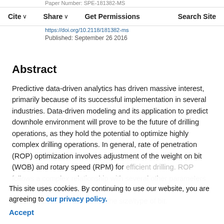Paper Number: SPE-181382-MS
Cite ∨   Share ∨   Get Permissions   Search Site
https://doi.org/10.2118/181382-ms
Published: September 26 2016
Abstract
Predictive data-driven analytics has driven massive interest, primarily because of its successful implementation in several industries. Data-driven modeling and its application to predict downhole environment will prove to be the future of drilling operations, as they hold the potential to optimize highly complex drilling operations. In general, rate of penetration (ROP) optimization involves adjustment of the weight on bit (WOB) and rotary speed (RPM) for efficient drilling. ROP follows a complex relationship with several other parameters such as formation properties, mud properties, mud hydraulics, borehole deviation as well as the size/type of bit.
This site uses cookies. By continuing to use our website, you are agreeing to our privacy policy. Accept